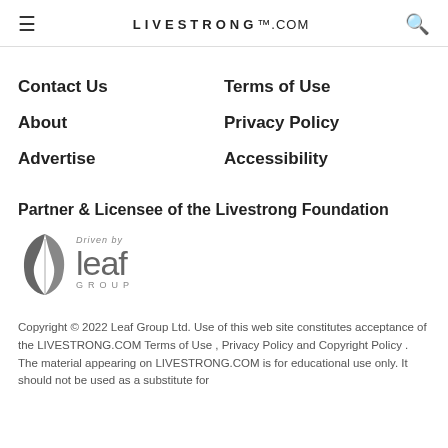LIVESTRONG.COM
Contact Us
Terms of Use
About
Privacy Policy
Advertise
Accessibility
Partner & Licensee of the Livestrong Foundation
[Figure (logo): Driven by Leaf Group logo with leaf icon]
Copyright © 2022 Leaf Group Ltd. Use of this web site constitutes acceptance of the LIVESTRONG.COM Terms of Use , Privacy Policy and Copyright Policy . The material appearing on LIVESTRONG.COM is for educational use only. It should not be used as a substitute for